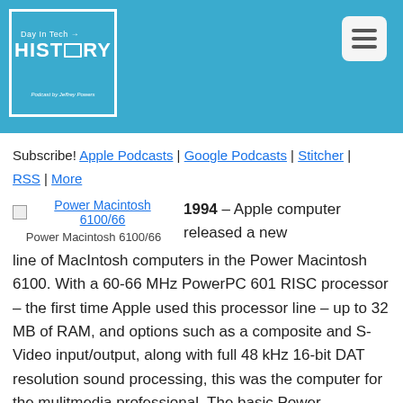[Figure (logo): Day In Tech History podcast logo - blue square with white border, text 'Day In Tech HISTORY' with monitor icon, 'Podcast by Jeffrey Powers' at bottom]
Subscribe! Apple Podcasts | Google Podcasts | Stitcher | RSS | More
[Figure (photo): Broken image placeholder linked as 'Power Macintosh 6100/66']
Power Macintosh 6100/66
1994 – Apple computer released a new line of MacIntosh computers in the Power Macintosh 6100. With a 60-66 MHz PowerPC 601 RISC processor – the first time Apple used this processor line – up to 32 MB of RAM, and options such as a composite and S-Video input/output, along with full 48 kHz 16-bit DAT resolution sound processing, this was the computer for the mulitmedia professional. The basic Power Macintosh 6100 was priced